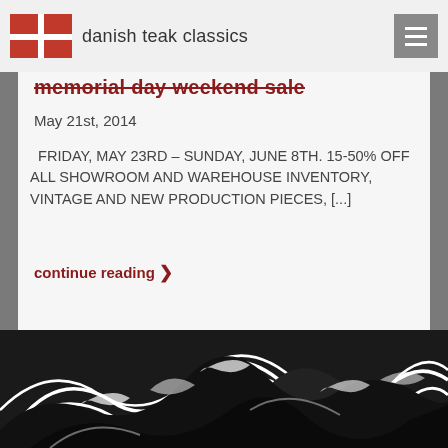danish teak classics
memorial day weekend sale
May 21st, 2014
FRIDAY, MAY 23RD – SUNDAY, JUNE 8TH. 15-50% OFF ALL SHOWROOM AND WAREHOUSE INVENTORY, VINTAGE AND NEW PRODUCTION PIECES, [...]
continue reading ›
[Figure (illustration): Black and white woodblock-style illustration of stylized ocean waves, cropped, filling the bottom portion of the page.]